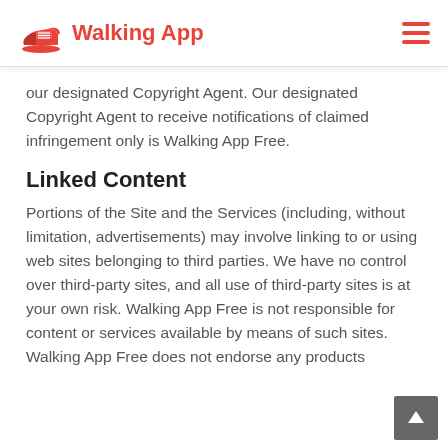Walking App
our designated Copyright Agent. Our designated Copyright Agent to receive notifications of claimed infringement only is Walking App Free.
Linked Content
Portions of the Site and the Services (including, without limitation, advertisements) may involve linking to or using web sites belonging to third parties. We have no control over third-party sites, and all use of third-party sites is at your own risk. Walking App Free is not responsible for content or services available by means of such sites. Walking App Free does not endorse any products